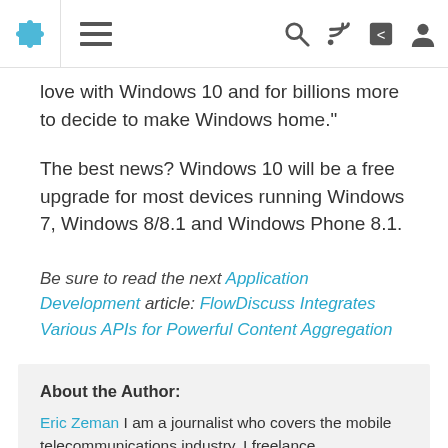[Navigation bar with puzzle logo, hamburger menu, search, RSS, share, and user icons]
love with Windows 10 and for billions more to decide to make Windows home."
The best news? Windows 10 will be a free upgrade for most devices running Windows 7, Windows 8/8.1 and Windows Phone 8.1.
Be sure to read the next Application Development article: FlowDiscuss Integrates Various APIs for Powerful Content Aggregation
About the Author:
Eric Zeman I am a journalist who covers the mobile telecommunications industry. I freelance